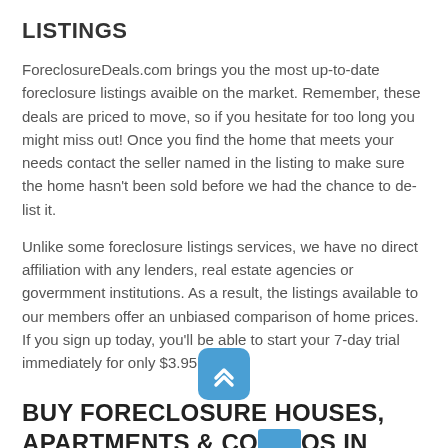LISTINGS
ForeclosureDeals.com brings you the most up-to-date foreclosure listings avaible on the market. Remember, these deals are priced to move, so if you hesitate for too long you might miss out! Once you find the home that meets your needs contact the seller named in the listing to make sure the home hasn't been sold before we had the chance to de-list it.
Unlike some foreclosure listings services, we have no direct affiliation with any lenders, real estate agencies or govermment institutions. As a result, the listings available to our members offer an unbiased comparison of home prices. If you sign up today, you'll be able to start your 7-day trial immediately for only $3.95.
BUY FORECLOSURE HOUSES, APARTMENTS & CONDOS IN PEMBROKE